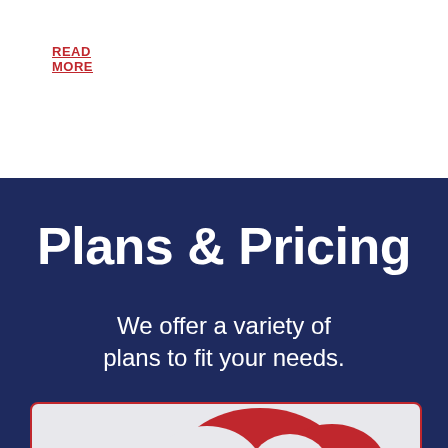READ MORE
Plans & Pricing
We offer a variety of plans to fit your needs.
[Figure (logo): Partial view of a logo or graphic at the bottom of the page, red curved shape visible on light gray background with red border card]